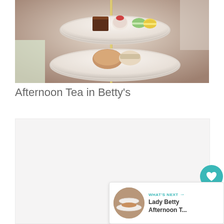[Figure (photo): Photo of afternoon tea tiered cake stand with pastries, macarons, and scones on white plates]
Afternoon Tea in Betty's
[Figure (photo): Second photo area, light/white background, partially visible]
[Figure (screenshot): UI overlay showing like button (heart icon, teal circle), like count 21, share button, and 'WHAT'S NEXT' card for Lady Betty Afternoon T...]